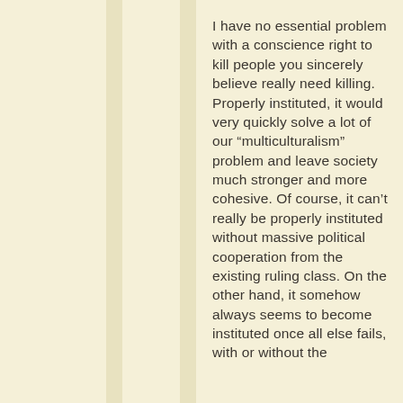I have no essential problem with a conscience right to kill people you sincerely believe really need killing. Properly instituted, it would very quickly solve a lot of our “multiculturalism” problem and leave society much stronger and more cohesive. Of course, it can’t really be properly instituted without massive political cooperation from the existing ruling class. On the other hand, it somehow always seems to become instituted once all else fails, with or without the